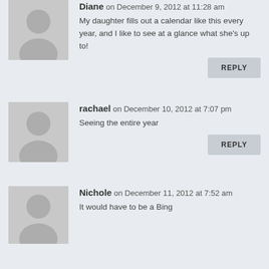Diane on December 9, 2012 at 11:28 am
My daughter fills out a calendar like this every year, and I like to see at a glance what she's up to!
REPLY
rachael on December 10, 2012 at 7:07 pm
Seeing the entire year
REPLY
Nichole on December 11, 2012 at 7:52 am
It would have to be a Bing